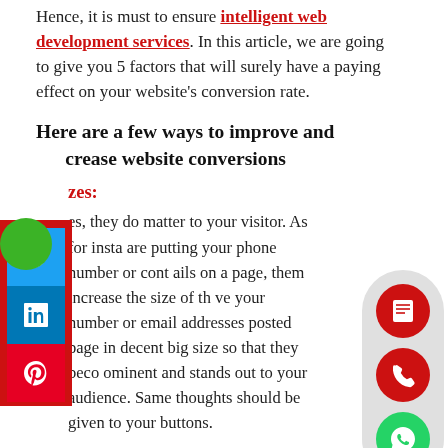Hence, it is must to ensure intelligent web development services. In this article, we are going to give you 5 factors that will surely have a paying effect on your website's conversion rate.
Here are a few ways to improve and increase website conversions
Sizes:
Yes, they do matter to your visitor. As for insta you are putting your phone number or cont ails on a page, them increase the size of th ve your number or email addresses posted page in decent big size so that they beco ominent and stands out to your audience. Same thoughts should be given to your buttons.
Remove The Clutter: